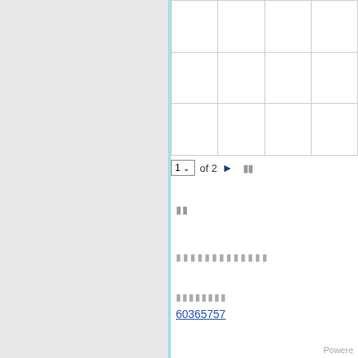|  |  |  |  |
|  |  |  |  |
|  |  |  |  |
1 of 2 ▶ ▪▪
▪▪
▪▪▪▪▪▪▪▪▪▪▪▪▪
▪▪▪▪▪▪▪▪
60365757
Powere